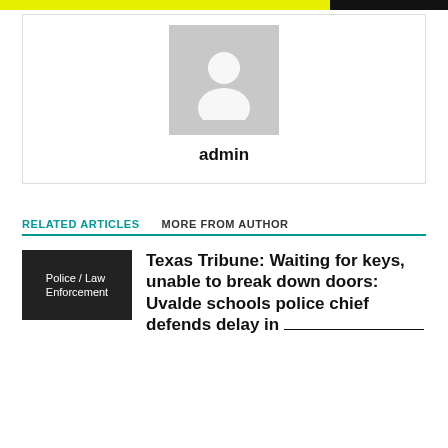[Figure (photo): Placeholder avatar image (grey silhouette of a person on grey background)]
admin
RELATED ARTICLES   MORE FROM AUTHOR
[Figure (illustration): Article thumbnail showing category label 'Police / Law Enforcement' on dark background]
Texas Tribune: Waiting for keys, unable to break down doors: Uvalde schools police chief defends delay in confronting gunman